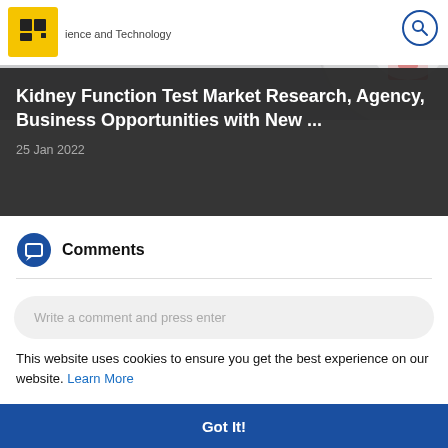Science and Technology
[Figure (screenshot): Website screenshot showing article header with logo, site label 'Science and Technology', search icon, and background logo graphic]
Kidney Function Test Market Research, Agency, Business Opportunities with New ...
25 Jan 2022
Comments
Write a comment and press enter
This website uses cookies to ensure you get the best experience on our website. Learn More
Got It!